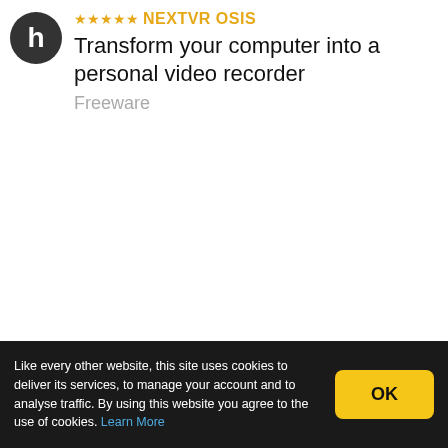[Figure (logo): Dark circular logo with white letter h]
NEXTVR OSIS
Transform your computer into a personal video recorder
Freeware
Like every other website, this site uses cookies to deliver its services, to manage your account and to analyse traffic. By using this website you agree to the use of cookies. Learn More
OK